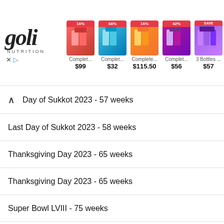[Figure (screenshot): Goli Nutrition advertisement banner showing logo and 5 product listings with discount badges and prices: Complet... $99, Complet... $32, Complete... $115.50, Complet... $56, 3 Bottles... $57]
Day of Sukkot 2023 - 57 weeks
Last Day of Sukkot 2023 - 58 weeks
Thanksgiving Day 2023 - 65 weeks
Thanksgiving Day 2023 - 65 weeks
Super Bowl LVIII - 75 weeks
Super Bowl LVIII - 75 weeks
Maundy Thursday 2024 - 83 weeks
Good Friday 2024 - 83 weeks
Easter Day / Easter Sunday 2024 - 83 weeks
Easter Monday 2024 - 84 weeks
Tidi th Ti 2024 - 85 w... (partially visible)